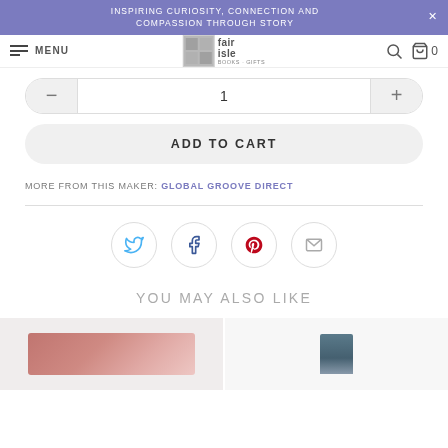INSPIRING CURIOSITY, CONNECTION AND COMPASSION THROUGH STORY
[Figure (screenshot): Fair Isle Books & Gifts navigation bar with hamburger menu, logo, search icon, and cart icon showing 0 items]
[Figure (screenshot): Quantity selector row with minus button, quantity field showing 1, and plus button]
ADD TO CART
MORE FROM THIS MAKER: GLOBAL GROOVE DIRECT
[Figure (infographic): Social share icons row: Twitter (blue bird), Facebook (dark f), Pinterest (red P), Email (envelope outline)]
YOU MAY ALSO LIKE
[Figure (photo): Two product thumbnail images partially visible at the bottom of the page]